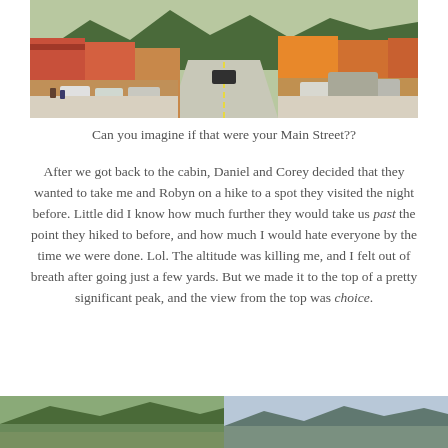[Figure (photo): Street-level view of a small mountain town main street with parked cars on both sides, colorful storefronts, and mountains in the background.]
Can you imagine if that were your Main Street??
After we got back to the cabin, Daniel and Corey decided that they wanted to take me and Robyn on a hike to a spot they visited the night before. Little did I know how much further they would take us past the point they hiked to before, and how much I would hate everyone by the time we were done. Lol. The altitude was killing me, and I felt out of breath after going just a few yards. But we made it to the top of a pretty significant peak, and the view from the top was choice.
[Figure (photo): Outdoor landscape photo, bottom-left portion of the page.]
[Figure (photo): Outdoor landscape photo, bottom-right portion of the page.]